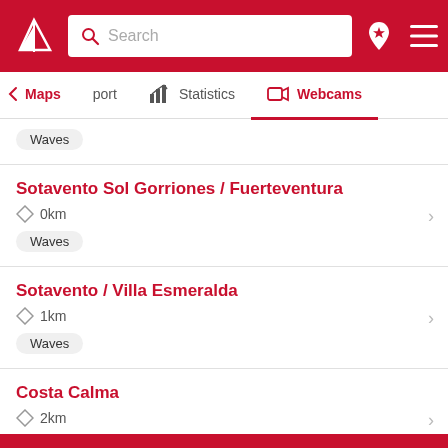[Figure (screenshot): Red navigation bar with white logo (windsurfing sail), search box reading 'Search', location pin icon with star, and hamburger menu icon]
Maps | port | Statistics | Webcams
Waves
Sotavento Sol Gorriones / Fuerteventura
0km  Waves
Sotavento / Villa Esmeralda
1km  Waves
Costa Calma
2km  Waves